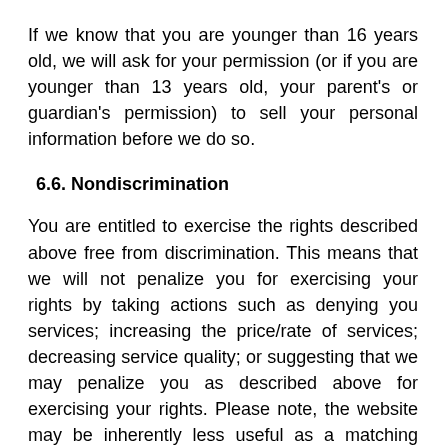If we know that you are younger than 16 years old, we will ask for your permission (or if you are younger than 13 years old, your parent's or guardian's permission) to sell your personal information before we do so.
6.6. Nondiscrimination
You are entitled to exercise the rights described above free from discrimination. This means that we will not penalize you for exercising your rights by taking actions such as denying you services; increasing the price/rate of services; decreasing service quality; or suggesting that we may penalize you as described above for exercising your rights. Please note, the website may be inherently less useful as a matching platform the